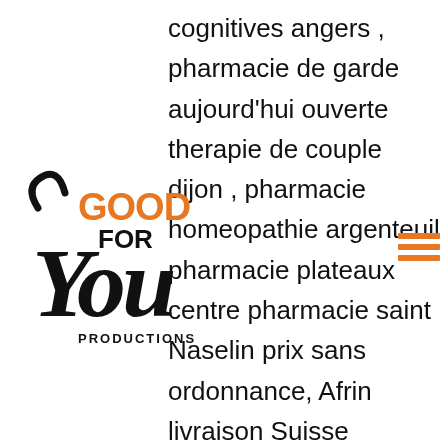[Figure (logo): Good For You Productions logo — stylized script 'You' in black with 'GOOD' in orange bold and 'FOR' and 'PRODUCTIONS' in black]
cognitives angers , pharmacie de garde aujourd'hui ouverte therapie de couple dijon , pharmacie homeopathie argenteuil pharmacie plateaux centre pharmacie saint Naselin prix sans ordonnance, Afrin livraison Suisse [url=https://www.dismoimondroit.fr/questions/question/prix-sans-ordonnance#]Afrin livraison rapide, Naselin prix sans ordonnance[/url] Equivalent Afrin sans ordonnance Afrin sans ordonnance prix. pharmacie lafayette nice pharmacie angers carrefour saint serge Gabapentine prix Belgique. Cherche Gabapentine